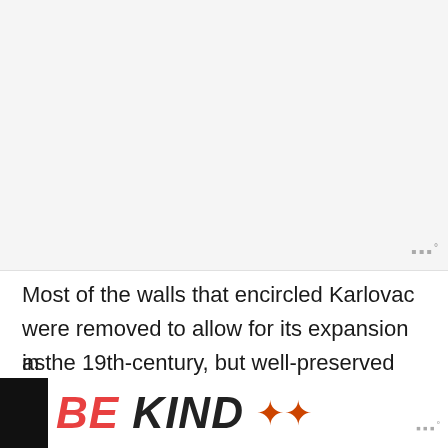[Figure (other): Image placeholder area at top of page, light gray background]
Most of the walls that encircled Karlovac were removed to allow for its expansion in the 19th-century, but well-preserved remnants are still in place, usually in pleasant green areas. The Old Town is also well-maintained, and although quiet, there's a strong sense of community buzz. Karlovac is home to the castle of Dubovac which rests on a hill overlooking the city, as well as
[Figure (infographic): Advertisement banner at bottom: BE KIND text in red and dark, with decorative floral graphic, on white background within black bar. Close button (x) visible. Watermark logo visible at right.]